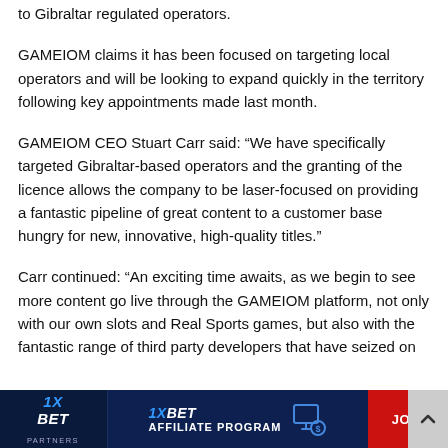to Gibraltar regulated operators.
GAMEIOM claims it has been focused on targeting local operators and will be looking to expand quickly in the territory following key appointments made last month.
GAMEIOM CEO Stuart Carr said: “We have specifically targeted Gibraltar-based operators and the granting of the licence allows the company to be laser-focused on providing a fantastic pipeline of great content to a customer base hungry for new, innovative, high-quality titles.”
Carr continued: “An exciting time awaits, as we begin to see more content go live through the GAMEIOM platform, not only with our own slots and Real Sports games, but also with the fantastic range of third party developers that have seized on
[Figure (infographic): 1XBET Partners affiliate program advertisement banner with dark blue background, 1XBET logo on left, affiliate program text and monitor icon in center, JOIN button on right with scroll-up arrow]